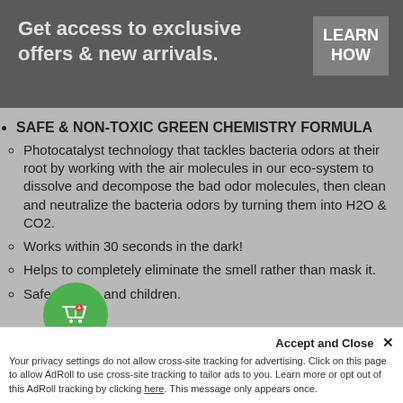[Figure (photo): Dark banner with text overlay and gray button]
Get access to exclusive offers & new arrivals.
LEARN HOW
SAFE & NON-TOXIC GREEN CHEMISTRY FORMULA
Photocatalyst technology that tackles bacteria odors at their root by working with the air molecules in our eco-system to dissolve and decompose the bad odor molecules, then clean and neutralize the bacteria odors by turning them into H2O & CO2.
Works within 30 seconds in the dark!
Helps to completely eliminate the smell rather than mask it.
Safe for pets and children.
Accept and Close ×
Your privacy settings do not allow cross-site tracking for advertising. Click on this page to allow AdRoll to use cross-site tracking to tailor ads to you. Learn more or opt out of this AdRoll tracking by clicking here. This message only appears once.